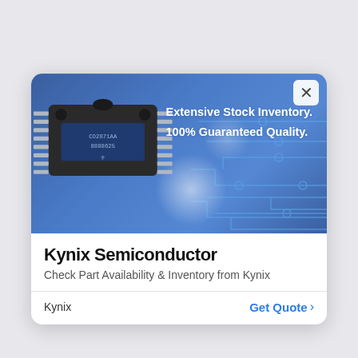[Figure (illustration): Advertisement banner with blue background showing a DIP IC chip photograph on the left, circuit board trace pattern on the right, and two lines of bold white text: 'Extensive Stock Inventory.' and '100% Guaranteed Quality.' A close (X) button is in the top-right corner.]
Kynix Semiconductor
Check Part Availability & Inventory from Kynix
Kynix
Get Quote >